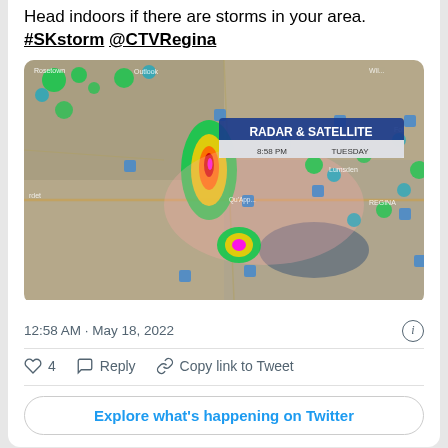Head indoors if there are storms in your area. #SKstorm @CTVRegina
[Figure (screenshot): Weather radar and satellite image showing storm cells over Saskatchewan, Canada, with RADAR & SATELLITE overlay label showing 8:58 PM TUESDAY. Colorful storm cells (green, yellow, red) visible over the map with city labels including Rosetown, Outlook, Lumsden, REGINA.]
12:58 AM · May 18, 2022
♡ 4   Reply   Copy link to Tweet
Explore what's happening on Twitter
Eric Stromberg
@Cire605 · Follow